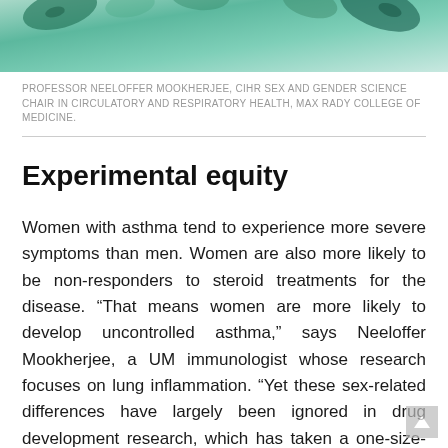[Figure (photo): Close-up microscopic or macro photo of green/teal biological structures (possibly bacteria or lung tissue) against a teal background]
PROFESSOR NEELOFFER MOOKHERJEE, CIHR SEX AND GENDER SCIENCE CHAIR IN CIRCULATORY AND RESPIRATORY HEALTH, MAX RADY COLLEGE OF MEDICINE.
Experimental equity
Women with asthma tend to experience more severe symptoms than men. Women are also more likely to be non-responders to steroid treatments for the disease. “That means women are more likely to develop uncontrolled asthma,” says Neeloffer Mookherjee, a UM immunologist whose research focuses on lung inflammation. “Yet these sex-related differences have largely been ignored in drug development research, which has taken a one-size-fits-all approach. If drug-testing experiments are